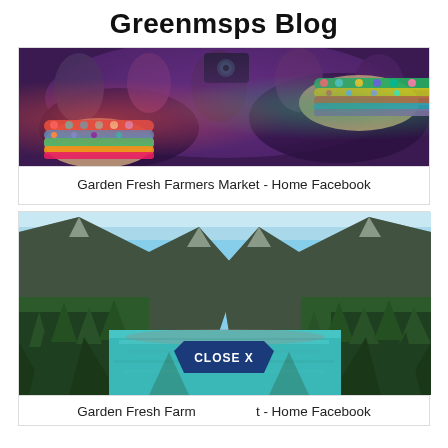Greenmsps Blog
[Figure (photo): Close-up of people's wrists wearing colorful beaded bracelets and wristbands at a crowd event]
Garden Fresh Farmers Market - Home Facebook
[Figure (photo): Scenic mountain lake with turquoise water surrounded by forested mountains and a clear blue sky]
Garden Fresh Farmers Market - Home Facebook